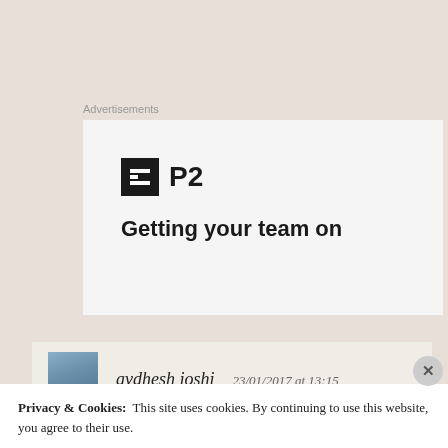Advertisements
[Figure (other): P2 advertisement banner showing the P2 logo (black square icon with white bars and 'P2' text) and partial tagline 'Getting your team on']
avdhesh joshi  23/01/2017 at 13:15
You are great sir... And was very helpful thank you so much
Privacy & Cookies:  This site uses cookies. By continuing to use this website, you agree to their use.
To find out more, including how to control cookies, see here: Cookie Policy
Close and accept